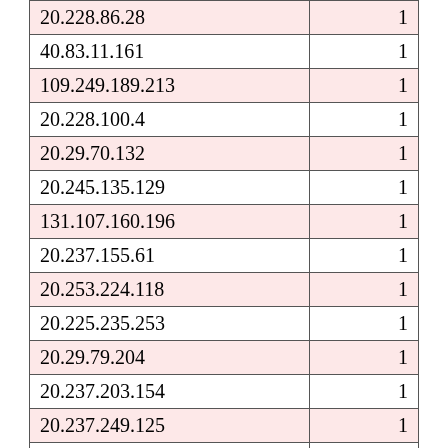| IP Address | Count |
| --- | --- |
| 20.228.86.28 | 1 |
| 40.83.11.161 | 1 |
| 109.249.189.213 | 1 |
| 20.228.100.4 | 1 |
| 20.29.70.132 | 1 |
| 20.245.135.129 | 1 |
| 131.107.160.196 | 1 |
| 20.237.155.61 | 1 |
| 20.253.224.118 | 1 |
| 20.225.235.253 | 1 |
| 20.29.79.204 | 1 |
| 20.237.203.154 | 1 |
| 20.237.249.125 | 1 |
| 20.97.251.251 | 1 |
| 129.208.105.166 | 1 |
| 20.120.28.27 | 1 |
| 20.245.141.38 | 1 |
| 20.232.117.93 | 1 |
| 23.96.42.179 | 1 |
| 104.43.246.70 | 1 |